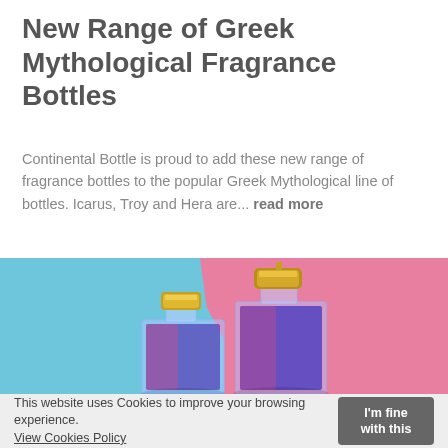New Range of Greek Mythological Fragrance Bottles
Continental Bottle is proud to add these new range of fragrance bottles to the popular Greek Mythological line of bottles. Icarus, Troy and Hera are... read more
[Figure (photo): Two square glass fragrance/perfume bottles with gold caps, one shorter and one taller, sitting against a background split diagonally between light blue (left) and pink (right). The bottles have a blue/violet liquid inside and appear translucent.]
This website uses Cookies to improve your browsing experience. View Cookies Policy  I'm fine with this